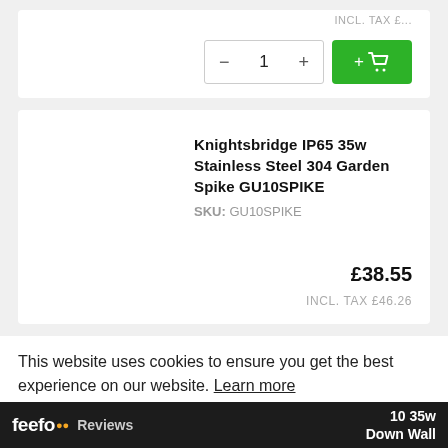INCL. TAX £...
− 1 + [Add to cart button]
Knightsbridge IP65 35w Stainless Steel 304 Garden Spike GU10SPIKE
SKU: GU10SPIKE
£38.55
INCL. TAX £46.26
This website uses cookies to ensure you get the best experience on our website. Learn more
Allow cookies
feefo Reviews  10 35w Down Wall